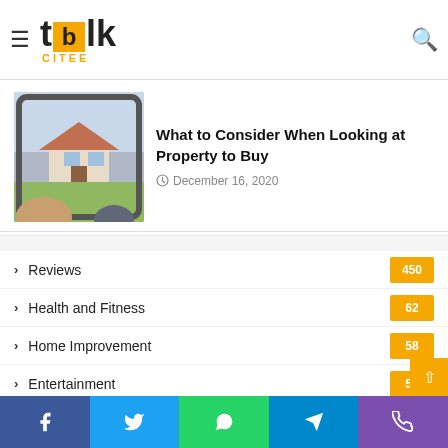blk citee — hamburger menu + search icon
The 10 countries with the most attractive men
December 17, 2020
[Figure (photo): Person holding a tablet showing a house image]
What to Consider When Looking at Property to Buy
December 16, 2020
Reviews 450
Health and Fitness 62
Home Improvement 58
Entertainment 56
Food and Drink 38
Fashion
Facebook | Twitter | WhatsApp | Telegram | Phone